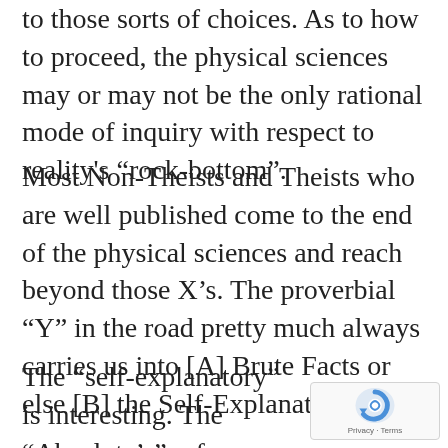to those sorts of choices. As to how to proceed, the physical sciences may or may not be the only rational mode of inquiry with respect to reality's “rock-bottom”.
Most Non-Theists and Theists who are well published come to the end of the physical sciences and reach beyond those X’s. The proverbial “Y” in the road pretty much always carries us into [A] Brute Facts or else [B] the Self-Explanatory.
The “self-explanatory” is interesting. The “Absolute’s” reference frame cannot be defined in terms of the finite and so ca